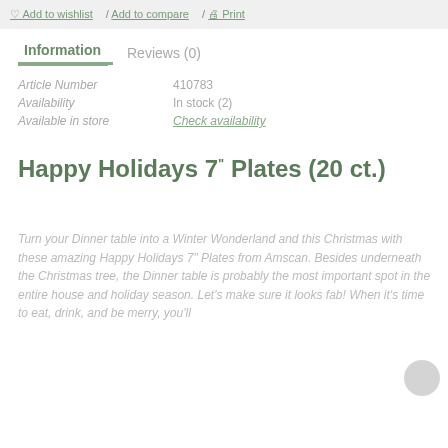Add to wishlist / Add to compare / Print
Information    Reviews (0)
Article Number    410783
Availability    In stock (2)
Available in store    Check availability
Happy Holidays 7" Plates (20 ct.)
Turn your Dinner table into a Winter Wonderland this Christmas with these amazing Happy Holidays 7" Plates from Amscan. Besides underneath the Christmas tree, the Dinner table is probably the most important spot in the entire house and holiday season. Let's make sure it looks fab! When it's time to eat, drink, and be merry, you'll